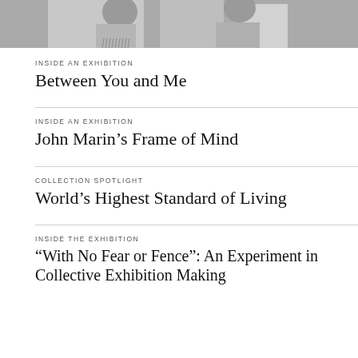[Figure (photo): Black and white photograph showing figures, cropped at top of page]
INSIDE AN EXHIBITION
Between You and Me
INSIDE AN EXHIBITION
John Marin's Frame of Mind
COLLECTION SPOTLIGHT
World's Highest Standard of Living
INSIDE THE EXHIBITION
“With No Fear or Fence”: An Experiment in Collective Exhibition Making